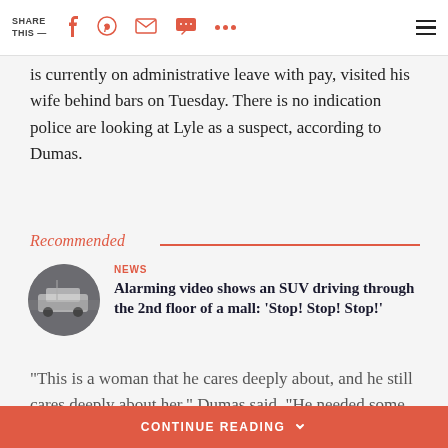SHARE THIS —
is currently on administrative leave with pay, visited his wife behind bars on Tuesday. There is no indication police are looking at Lyle as a suspect, according to Dumas.
Recommended
[Figure (photo): Circular thumbnail image of an SUV incident in a mall]
NEWS
Alarming video shows an SUV driving through the 2nd floor of a mall: 'Stop! Stop! Stop!'
"This is a woman that he cares deeply about, and he still cares deeply about her," Dumas said. "He needed some answers. He was just
CONTINUE READING